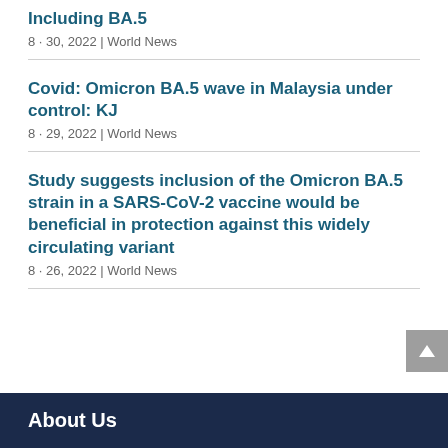Including BA.5
8 · 30, 2022 | World News
Covid: Omicron BA.5 wave in Malaysia under control: KJ
8 · 29, 2022 | World News
Study suggests inclusion of the Omicron BA.5 strain in a SARS-CoV-2 vaccine would be beneficial in protection against this widely circulating variant
8 · 26, 2022 | World News
About Us